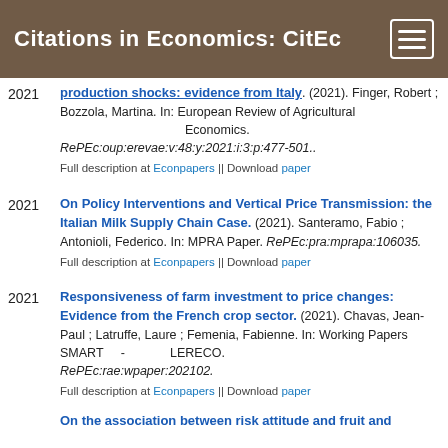Citations in Economics: CitEc
production shocks: evidence from Italy. (2021). Finger, Robert ; Bozzola, Martina. In: European Review of Agricultural Economics. RePEc:oup:erevae:v:48:y:2021:i:3:p:477-501.. Full description at Econpapers || Download paper
On Policy Interventions and Vertical Price Transmission: the Italian Milk Supply Chain Case. (2021). Santeramo, Fabio ; Antonioli, Federico. In: MPRA Paper. RePEc:pra:mprapa:106035. Full description at Econpapers || Download paper
Responsiveness of farm investment to price changes: Evidence from the French crop sector. (2021). Chavas, Jean-Paul ; Latruffe, Laure ; Femenia, Fabienne. In: Working Papers SMART - LERECO. RePEc:rae:wpaper:202102. Full description at Econpapers || Download paper
On the association between risk attitude and fruit and